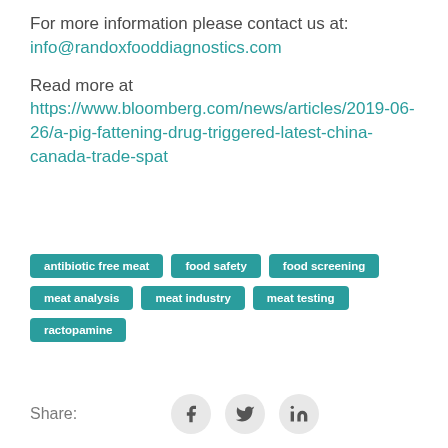For more information please contact us at: info@randoxfooddiagnostics.com
Read more at https://www.bloomberg.com/news/articles/2019-06-26/a-pig-fattening-drug-triggered-latest-china-canada-trade-spat
antibiotic free meat
food safety
food screening
meat analysis
meat industry
meat testing
ractopamine
Share: